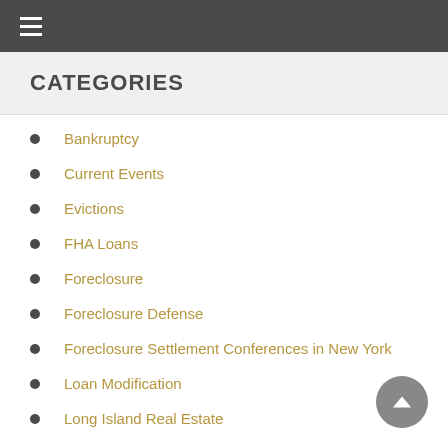Navigation bar with hamburger menu
CATEGORIES
Bankruptcy
Current Events
Evictions
FHA Loans
Foreclosure
Foreclosure Defense
Foreclosure Settlement Conferences in New York
Loan Modification
Long Island Real Estate
Mortgage Fraud
Mortgage Modification